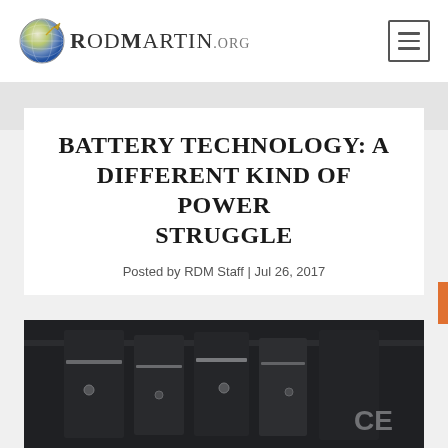RodMartin.org
BATTERY TECHNOLOGY: A DIFFERENT KIND OF POWER STRUGGLE
Posted by RDM Staff | Jul 26, 2017
[Figure (photo): Close-up photo of a battery or electronic component, dark tones with silver metallic elements visible]